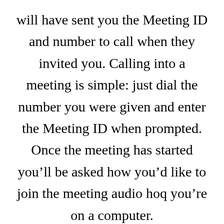will have sent you the Meeting ID and number to call when they invited you. Calling into a meeting is simple: just dial the number you were given and enter the Meeting ID when prompted. Once the meeting has started you'll be asked how you'd like to join the meeting audio hoq you're on a computer.

You should select 'join with computer audio' as below:. You might also be prompted to let Zoom or your browser access your microphone and webcam. This is necessary